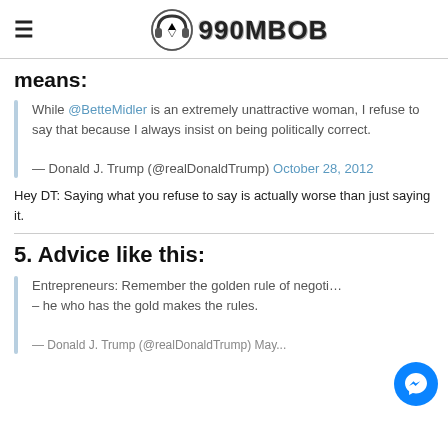990MBOB
means:
While @BetteMidler is an extremely unattractive woman, I refuse to say that because I always insist on being politically correct.
— Donald J. Trump (@realDonaldTrump) October 28, 2012
Hey DT: Saying what you refuse to say is actually worse than just saying it.
5. Advice like this:
Entrepreneurs: Remember the golden rule of negoti... – he who has the gold makes the rules.
— Donald J. Trump (@realDonaldTrump) May ...